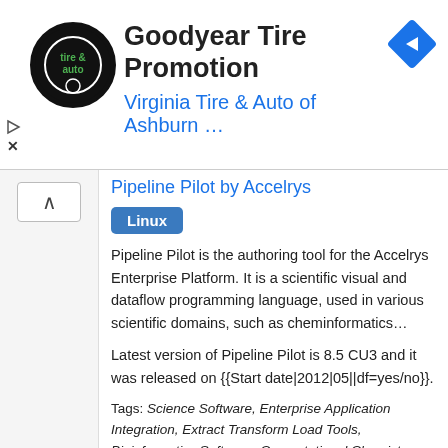[Figure (other): Advertisement banner for Goodyear Tire Promotion by Virginia Tire & Auto of Ashburn, with logo and navigation icon]
Pipeline Pilot by Accelrys
Linux
Pipeline Pilot is the authoring tool for the Accelrys Enterprise Platform. It is a scientific visual and dataflow programming language, used in various scientific domains, such as cheminformatics...
Latest version of Pipeline Pilot is 8.5 CU3 and it was released on {{Start date|2012|05||df=yes/no}}.
Tags: Science Software, Enterprise Application Integration, Extract Transform Load Tools, Bioinformatics Software, Computational Chemistry Software, Computer Vision Software, Data Analysis Software, Data Mining And